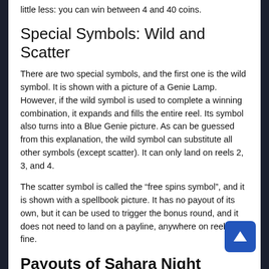little less: you can win between 4 and 40 coins.
Special Symbols: Wild and Scatter
There are two special symbols, and the first one is the wild symbol. It is shown with a picture of a Genie Lamp. However, if the wild symbol is used to complete a winning combination, it expands and fills the entire reel. Its symbol also turns into a Blue Genie picture. As can be guessed from this explanation, the wild symbol can substitute all other symbols (except scatter). It can only land on reels 2, 3, and 4.
The scatter symbol is called the “free spins symbol”, and it is shown with a spellbook picture. It has no payout of its own, but it can be used to trigger the bonus round, and it does not need to land on a payline, anywhere on reels is fine.
Payouts of Sahara Night Symbols
There are three important things we need to mention about the Sahara Nights payouts.
First, the payouts are in coins, but you can switch to “Euro” payments from the “settings” screen. We used coins in this review, but you can choose to play the game with Euro – it up to you.
Second, there are no multiplier payouts in the Sahara Nights slot machine.